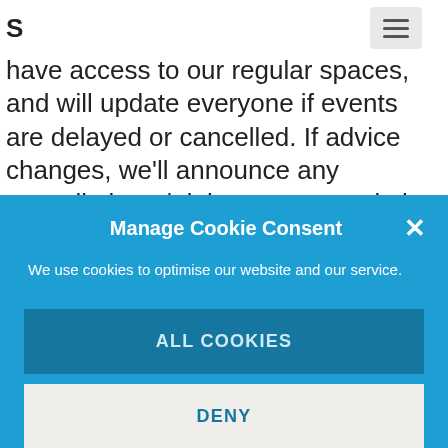S [hamburger menu icon]
have access to our regular spaces, and will update everyone if events are delayed or cancelled. If advice changes, we'll announce any cancellations / delays on our website, Facebook page, MissImp Members group, and Twitter
Manage Cookie Consent
We use cookies to optimise our website and our service.
ALL COOKIES
DENY
VIEW PREFERENCES